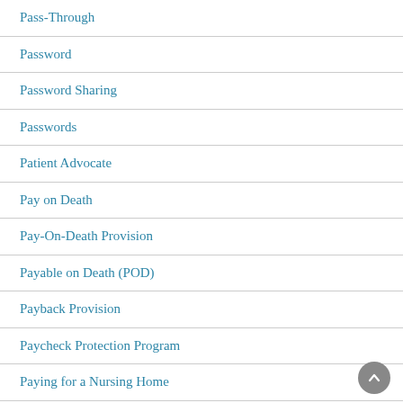Pass-Through
Password
Password Sharing
Passwords
Patient Advocate
Pay on Death
Pay-On-Death Provision
Payable on Death (POD)
Payback Provision
Paycheck Protection Program
Paying for a Nursing Home
paying for coronavirus testing
Payroll Tax Deferral